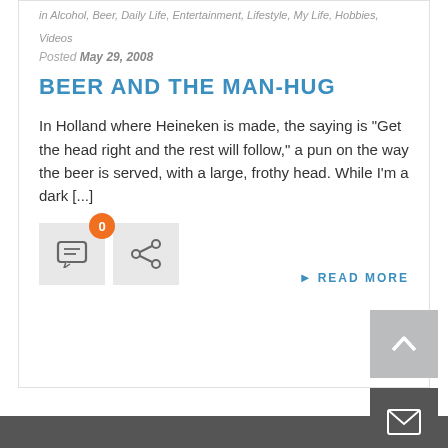in Alcohol, Beer, Daily Life, Entertainment, Lifestyle, My Life, Hobbies, Videos
Posted May 29, 2008
BEER AND THE MAN-HUG
In Holland where Heineken is made, the saying is "Get the head right and the rest will follow," a pun on the way the beer is served, with a large, frothy head. While I'm a dark [...]
[Figure (infographic): Comment button with orange badge showing 0 comments, and a share button]
▶ READ MORE